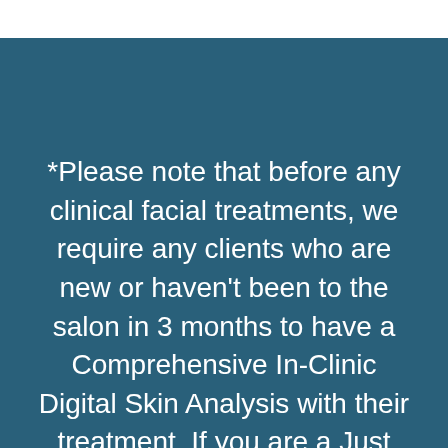*Please note that before any clinical facial treatments, we require any clients who are new or haven't been to the salon in 3 months to have a Comprehensive In-Clinic Digital Skin Analysis with their treatment. If you are a Just Magic devotee, a...